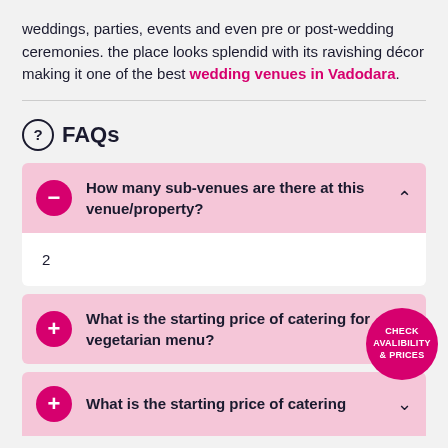weddings, parties, events and even pre or post-wedding ceremonies. the place looks splendid with its ravishing décor making it one of the best wedding venues in Vadodara.
FAQs
How many sub-venues are there at this venue/property?
2
What is the starting price of catering for vegetarian menu?
What is the starting price of catering